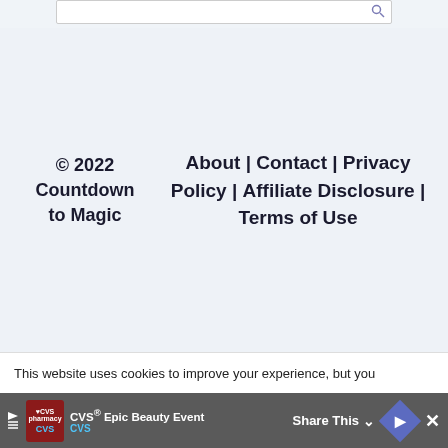[search bar area]
© 2022 Countdown to Magic
About | Contact | Privacy Policy | Affiliate Disclosure | Terms of Use
This website uses cookies to improve your experience, but you
[Figure (screenshot): CVS Epic Beauty Event advertisement banner with share button and navigation icon]